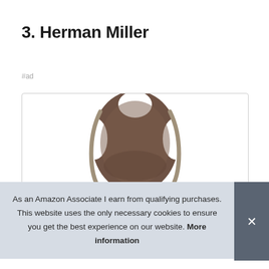3. Herman Miller
#ad
[Figure (photo): Herman Miller office chair viewed from behind/above, showing brown mesh backrest and tan/beige armrests against a white background, inside a light-bordered product box]
As an Amazon Associate I earn from qualifying purchases. This website uses the only necessary cookies to ensure you get the best experience on our website. More information